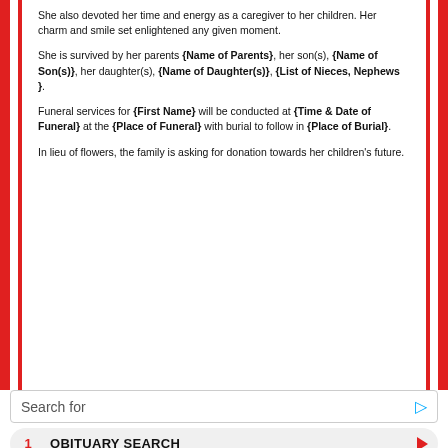She also devoted her time and energy as a caregiver to her children. Her charm and smile set enlightened any given moment.
She is survived by her parents {Name of Parents}, her son(s), {Name of Son(s)}, her daughter(s), {Name of Daughter(s)}, {List of Nieces, Nephews }.
Funeral services for {First Name} will be conducted at {Time & Date of Funeral} at the {Place of Funeral} with burial to follow in {Place of Burial}.
In lieu of flowers, the family is asking for donation towards her children's future.
Search for
1   OBITUARY SEARCH
2   FREE BLANK TEMPLATES
Yahoo! Search | Sponsored